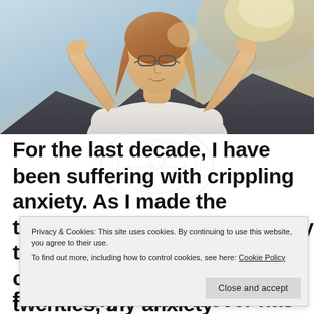[Figure (photo): Young woman with glasses and hands raised behind her head, eyes closed, facing upward in sunlight with a calm, liberated expression. Natural outdoor background with warm backlight.]
For the last decade, I have been suffering with crippling anxiety. As I made the transition from my teens to my twenties, my anxiety continued
Privacy & Cookies: This site uses cookies. By continuing to use this website, you agree to their use.
To find out more, including how to control cookies, see here: Cookie Policy
feel stronger than it ever has before. It was like